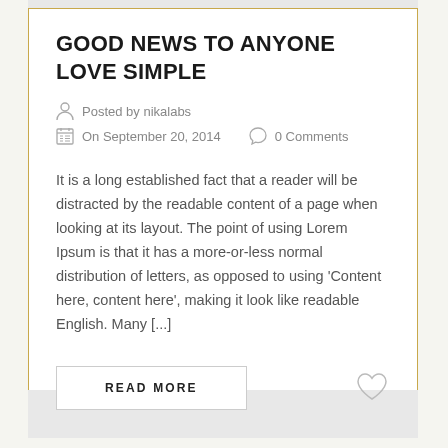GOOD NEWS TO ANYONE LOVE SIMPLE
Posted by nikalabs
On September 20, 2014   0 Comments
It is a long established fact that a reader will be distracted by the readable content of a page when looking at its layout. The point of using Lorem Ipsum is that it has a more-or-less normal distribution of letters, as opposed to using ‘Content here, content here’, making it look like readable English. Many [...]
READ MORE